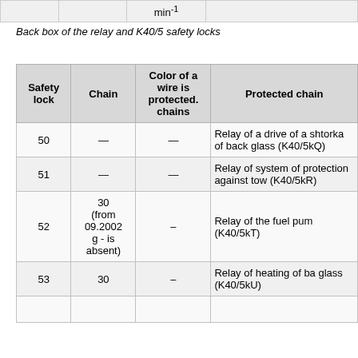|  |  | min⁻¹ |  |
| --- | --- | --- | --- |
|  |  |  |  |
Back box of the relay and K40/5 safety locks
| Safety lock | Chain | Color of a wire is protected. chains | Protected chain |
| --- | --- | --- | --- |
| 50 | — | — | Relay of a drive of a shtorka of back glass (K40/5kQ) |
| 51 | — | — | Relay of system of protection against tow (K40/5kR) |
| 52 | 30 (from 09.2002 g - is absent) | – | Relay of the fuel pump (K40/5kT) |
| 53 | 30 | – | Relay of heating of back glass (K40/5kU) |
|  |  |  |  |